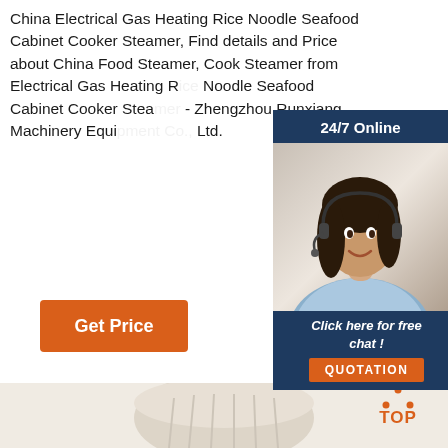China Electrical Gas Heating Rice Noodle Seafood Cabinet Cooker Steamer, Find details and Price about China Food Steamer, Cook Steamer from Electrical Gas Heating Rice Noodle Seafood Cabinet Cooker Steamer - Zhengzhou Runxiang Machinery Equipment Co., Ltd.
[Figure (photo): Customer service representative with headset, 24/7 Online chat panel with dark blue background, photo of woman smiling, and QUOTATION orange button]
Get Price
[Figure (photo): Product photo section showing a steamer/cooking vessel on light beige background with TOP orange icon in top right corner]